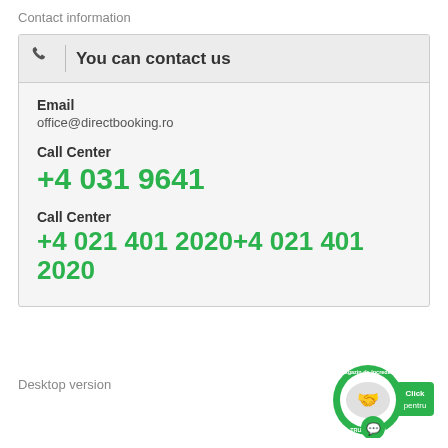Contact information
You can contact us
Email
office@directbooking.ro
Call Center
+4 031 9641
Call Center
+4 021 401 2020+4 021 401 2020
Desktop version
[Figure (logo): Trusted.ro badge - Magazin de incredere green circular logo with handshake image]